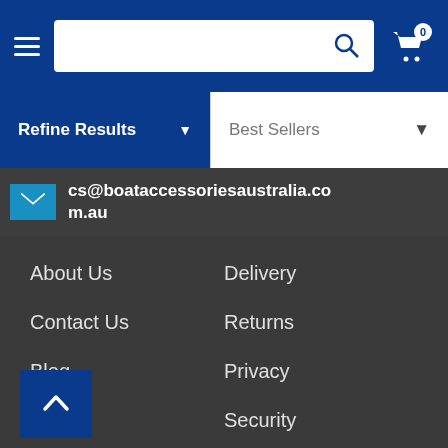Navigation header with hamburger menu, search bar, and cart icon with badge 0
Refine Results
Best Sellers
cs@boataccessoriesaustralia.com.au
About Us
Delivery
Contact Us
Returns
Blog
Privacy
FAQs
Security
nds
Gift Card T&Cs